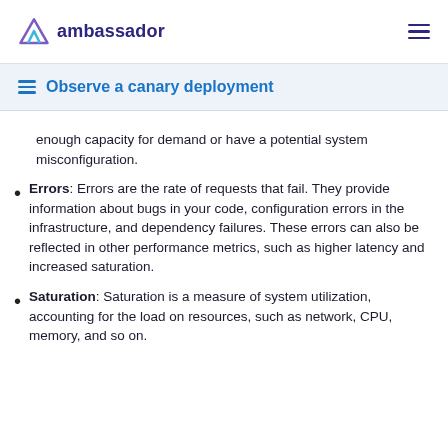ambassador
Observe a canary deployment
enough capacity for demand or have a potential system misconfiguration.
Errors: Errors are the rate of requests that fail. They provide information about bugs in your code, configuration errors in the infrastructure, and dependency failures. These errors can also be reflected in other performance metrics, such as higher latency and increased saturation.
Saturation: Saturation is a measure of system utilization, accounting for the load on resources, such as network, CPU, memory, and so on.